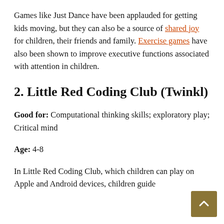Games like Just Dance have been applauded for getting kids moving, but they can also be a source of shared joy for children, their friends and family. Exercise games have also been shown to improve executive functions associated with attention in children.
2. Little Red Coding Club (Twinkl)
Good for: Computational thinking skills; exploratory play; Critical mind
Age: 4-8
In Little Red Coding Club, which children can play on Apple and Android devices, children guide